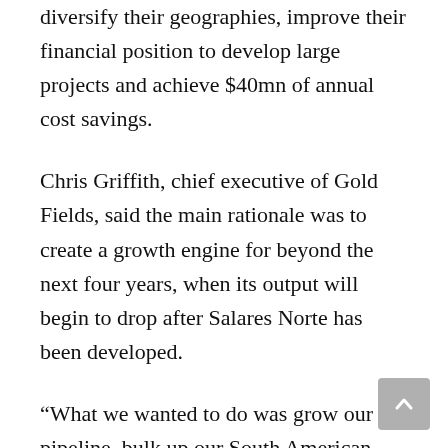diversify their geographies, improve their financial position to develop large projects and achieve $40mn of annual cost savings.
Chris Griffith, chief executive of Gold Fields, said the main rationale was to create a growth engine for beyond the next four years, when its output will begin to drop after Salares Norte has been developed.
“What we wanted to do was grow our pipeline, bulk up our South American